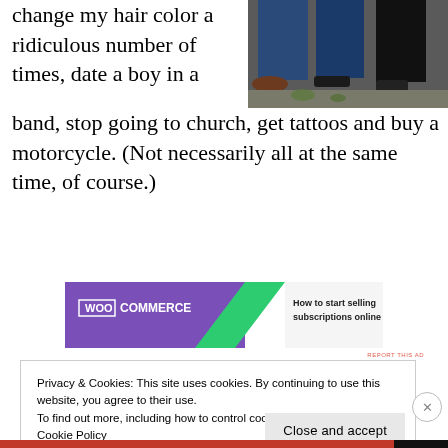change my hair color a ridiculous number of times, date a boy in a band, stop going to church, get tattoos and buy a motorcycle. (Not necessarily all at the same time, of course.)
[Figure (photo): Photo of people's legs and feet standing on ground, wearing jeans and boots/dress shoes]
[Figure (other): WooCommerce advertisement banner: WOO COMMERCE logo with text 'How to start selling subscriptions online']
Privacy & Cookies: This site uses cookies. By continuing to use this website, you agree to their use.
To find out more, including how to control cookies, see here:
Cookie Policy
Close and accept